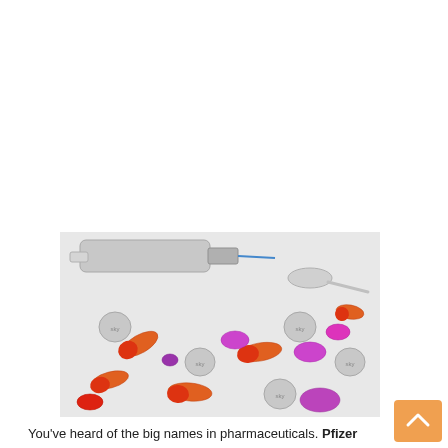[Figure (photo): Photo of assorted pharmaceutical pills, capsules (orange-red, purple), round grey tablets, a syringe, and a spoon arranged on a white surface.]
You've heard of the big names in pharmaceuticals. Pfizer (NYSE:PFE).